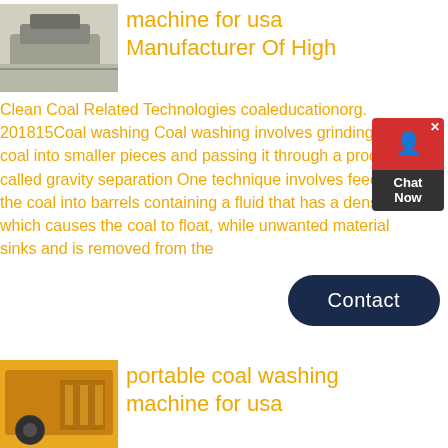[Figure (photo): Industrial crushing/mining machine outdoors, gray tones]
machine for usa Manufacturer Of High
Clean Coal Related Technologies coaleducationorg. 201815Coal washing Coal washing involves grinding coal into smaller pieces and passing it through a process called gravity separation One technique involves feeding the coal into barrels containing a fluid that has a density which causes the coal to float, while unwanted material sinks and is removed from the
[Figure (other): Chat widget with red bubble and dark Chat Now label]
Contact
[Figure (photo): Industrial yellow coal washing machine]
portable coal washing machine for usa